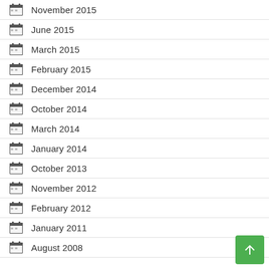November 2015
June 2015
March 2015
February 2015
December 2014
October 2014
March 2014
January 2014
October 2013
November 2012
February 2012
January 2011
August 2008